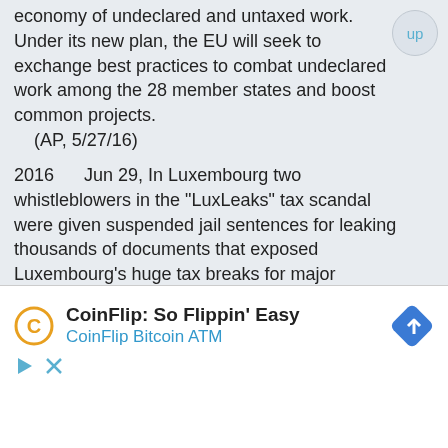economy of undeclared and untaxed work. Under its new plan, the EU will seek to exchange best practices to combat undeclared work among the 28 member states and boost common projects.
    (AP, 5/27/16)
2016      Jun 29, In Luxembourg two whistleblowers in the "LuxLeaks" tax scandal were given suspended jail sentences for leaking thousands of documents that exposed Luxembourg's huge tax breaks for major international companies. Former PricewaterhouseCoopers employees Antoine Deltour and Raphael Halet received 12-month and nine-month sentences respectively while journalist Edouard Perrin was acquitted of all charges. In March 2017 the sentence for Antoine Deltour (31) was reduced to six months suspended with a 1,500-euro fine. Raphael Halet
[Figure (screenshot): Advertisement banner for CoinFlip Bitcoin ATM with logo, text 'CoinFlip: So Flippin' Easy / CoinFlip Bitcoin ATM', a diamond-shaped navigation icon, play and close buttons.]